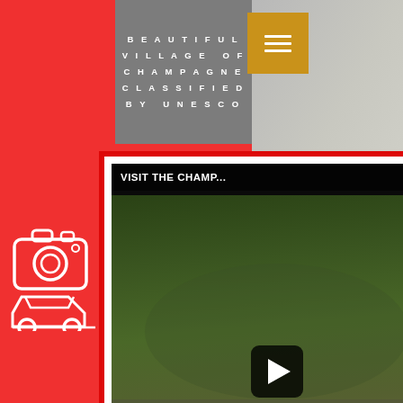[Figure (screenshot): Mobile website screenshot with red panel, gray header showing 'BEAUTIFUL VILLAGE OF CHAMPAGNE CLASSIFIED BY UNESCO' text, gold hamburger menu button, YouTube video thumbnail titled 'VISIT THE CHAMP...' with aerial village view and play button, white icons (camera, car) on left, and time labels 1H00, 40MIN, 1H00, 10MIN at bottom left]
BEAUTIFUL VILLAGE OF CHAMPAGNE CLASSIFIED BY UNESCO
VISIT THE CHAMP...
1H00
40MIN
1H00
10MIN